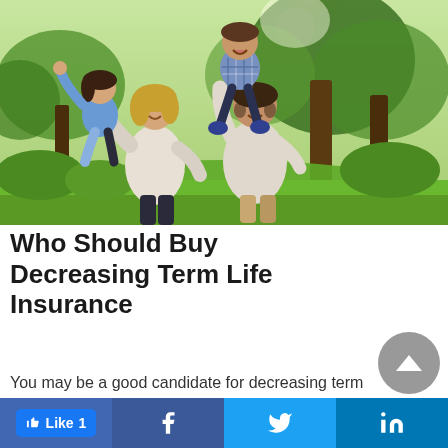[Figure (photo): A happy family of four outdoors in a park setting. A pregnant mother carries a young girl on her back, while a father with a young boy on his shoulders laughs with her. Sunlight filters through trees in the background.]
Who Should Buy Decreasing Term Life Insurance
You may be a good candidate for decreasing term
Like 1 | Facebook | Twitter | LinkedIn